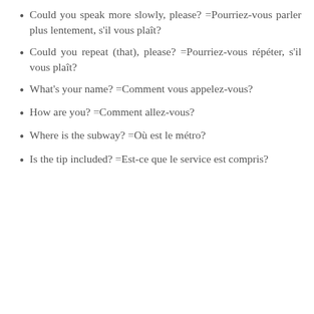Could you speak more slowly, please? =Pourriez-vous parler plus lentement, s'il vous plaît?
Could you repeat (that), please? =Pourriez-vous répéter, s'il vous plaît?
What's your name? =Comment vous appelez-vous?
How are you? =Comment allez-vous?
Where is the subway? =Où est le métro?
Is the tip included? =Est-ce que le service est compris?